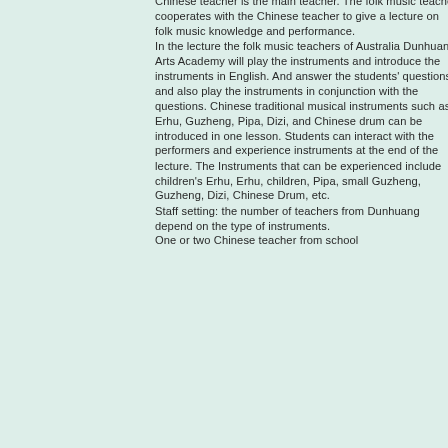Chinese teacher is the main teacher. The folk music teacher cooperates with the Chinese teacher to give a lecture on folk music knowledge and performance. In the lecture the folk music teachers of Australia Dunhuang Arts Academy will play the instruments and introduce the instruments in English. And answer the students' questions, and also play the instruments in conjunction with the questions. Chinese traditional musical instruments such as Erhu, Guzheng, Pipa, Dizi, and Chinese drum can be introduced in one lesson. Students can interact with the performers and experience instruments at the end of the lecture. The Instruments that can be experienced include children&#39;s Erhu, Erhu, children, Pipa, small Guzheng, Guzheng, Dizi, Chinese Drum, etc. Staff setting: the number of teachers from Dunhuang depend on the type of instruments. One or two Chinese teacher from school